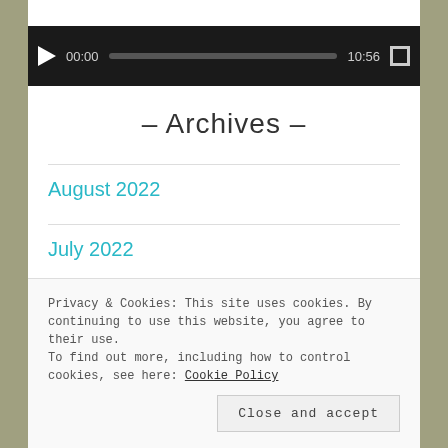[Figure (screenshot): Video player bar with play button showing 00:00 / 10:56 and a progress bar and fullscreen button on dark background]
– Archives –
August 2022
July 2022
June 2022
Privacy & Cookies: This site uses cookies. By continuing to use this website, you agree to their use.
To find out more, including how to control cookies, see here: Cookie Policy
Close and accept